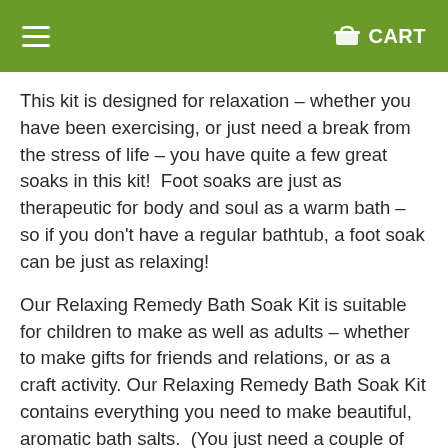≡  🛒 CART
This kit is designed for relaxation – whether you have been exercising, or just need a break from the stress of life – you have quite a few great soaks in this kit!  Foot soaks are just as therapeutic for body and soul as a warm bath – so if you don't have a regular bathtub, a foot soak can be just as relaxing!
Our Relaxing Remedy Bath Soak Kit is suitable for children to make as well as adults – whether to make gifts for friends and relations, or as a craft activity. Our Relaxing Remedy Bath Soak Kit contains everything you need to make beautiful, aromatic bath salts.  (You just need a couple of bowls and a mixing spoon!)
The contents of the kit makes 1300g salt.
You can make either 2 x half batches with two different